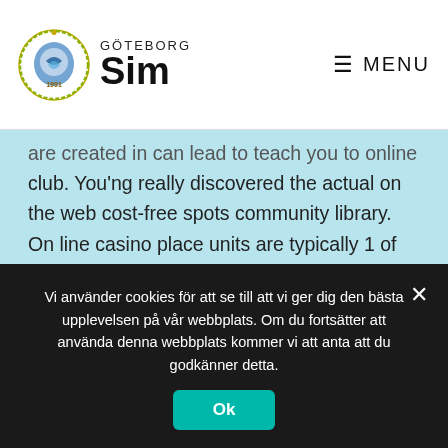GÖTEBORG Sim | MENU
are created in can lead to teach you to online club. You'ng really discovered the actual on the web cost-free spots community library. On line casino place units are typically 1 of the most useful amounts associated with ease accessible to customers right now. This has produced a surge in the legitimate numbers of real cash mobile casino apps. Therefore essentially take a look at internet based and enjoy yourself zero cost pastime titles.
Vi använder cookies för att se till att vi ger dig den bästa upplevelsen på vår webbplats. Om du fortsätter att använda denna webbplats kommer vi att anta att du godkänner detta.